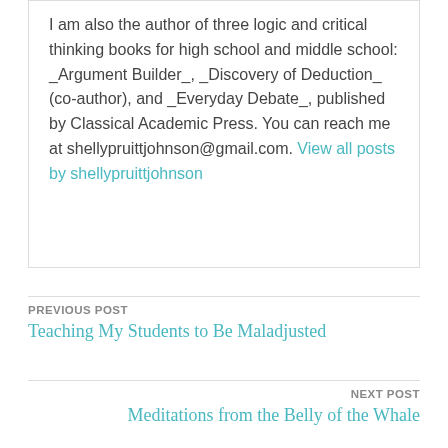I am also the author of three logic and critical thinking books for high school and middle school: _Argument Builder_, _Discovery of Deduction_ (co-author), and _Everyday Debate_, published by Classical Academic Press. You can reach me at shellypruittjohnson@gmail.com. View all posts by shellypruittjohnson
PREVIOUS POST
Teaching My Students to Be Maladjusted
NEXT POST
Meditations from the Belly of the Whale